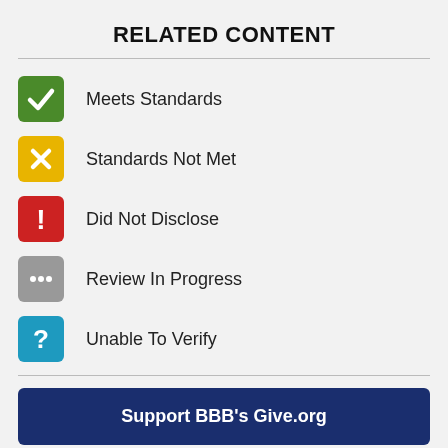RELATED CONTENT
Meets Standards
Standards Not Met
Did Not Disclose
Review In Progress
Unable To Verify
Support BBB's Give.org
Heart Of Giving Podcast
Giving Guidance & Tips.